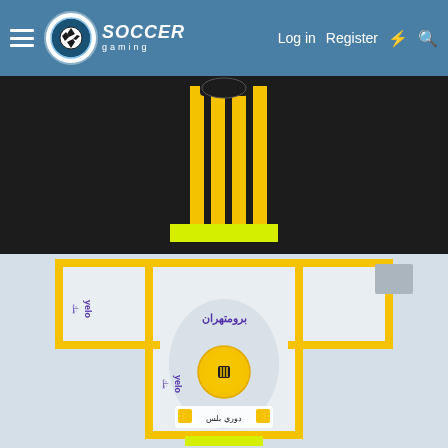Soccer Gaming website navigation bar with logo, Log in, Register links and icons
[Figure (illustration): Soccer Gaming website screenshot showing two football kit texture/template images. Top image shows a black kit with yellow vertical stripes and a yellow/lime collar band. Bottom image shows a white kit with yellow trim/borders, Arabic text sponsor logos (Yelo bank), team crest with a lion, and sponsor badges including Dawri Plus. Both images are flat kit templates used for game kit editing.]